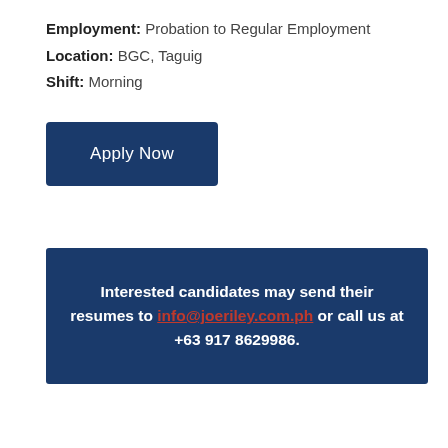Employment: Probation to Regular Employment
Location: BGC, Taguig
Shift: Morning
Apply Now
Interested candidates may send their resumes to info@joeriley.com.ph or call us at +63 917 8629986.